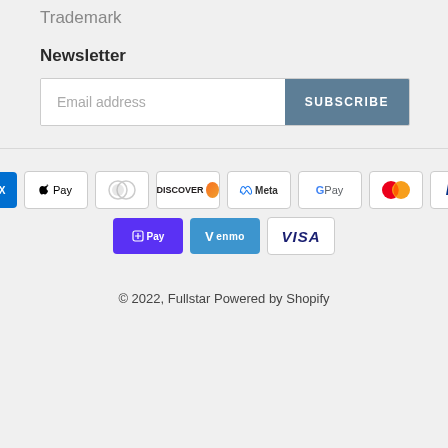Trademark
Newsletter
[Figure (screenshot): Email address input field with SUBSCRIBE button]
[Figure (infographic): Payment method icons: American Express, Apple Pay, Diners Club, Discover, Meta Pay, Google Pay, Mastercard, PayPal, Shop Pay, Venmo, Visa]
© 2022, Fullstar Powered by Shopify